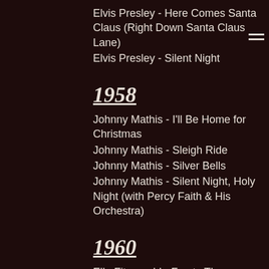Elvis Presley - Here Comes Santa Claus (Right Down Santa Claus Lane)
Elvis Presley - Silent Night
1958
Johnny Mathis - I'll Be Home for Christmas
Johnny Mathis - Sleigh Ride
Johnny Mathis - Silver Bells
Johnny Mathis - Silent Night, Holy Night (with Percy Faith & His Orchestra)
1960
Ella Fitzgerald - Frosty The Snowman
Ella Fitzgerald - Sleigh Ride